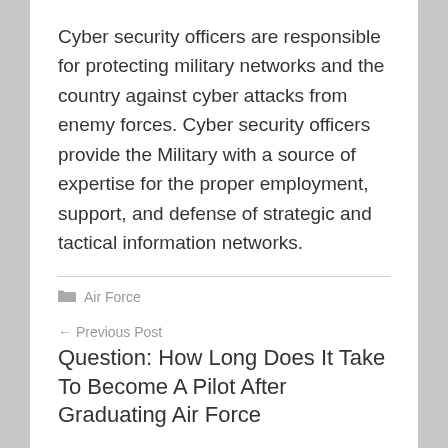Cyber security officers are responsible for protecting military networks and the country against cyber attacks from enemy forces. Cyber security officers provide the Military with a source of expertise for the proper employment, support, and defense of strategic and tactical information networks.
Air Force
← Previous Post
Question: How Long Does It Take To Become A Pilot After Graduating Air Force